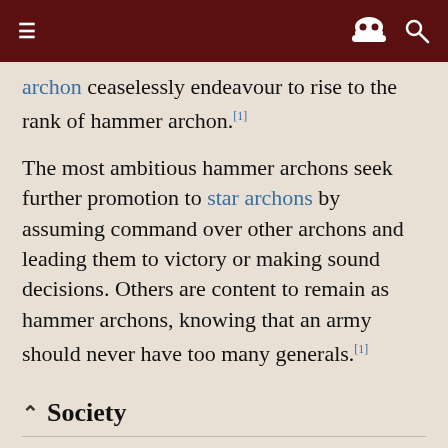≡  [spy icon] 🔍
archon ceaselessly endeavour to rise to the rank of hammer archon.[1]
The most ambitious hammer archons seek further promotion to star archons by assuming command over other archons and leading them to victory or making sound decisions. Others are content to remain as hammer archons, knowing that an army should never have too many generals.[1]
^ Society
Hammer archons spend the majority of their time in battle fighting against evil. Unless